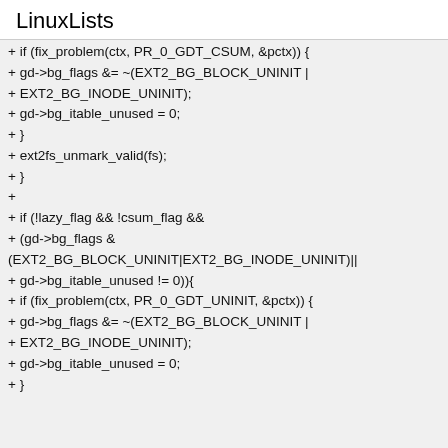LinuxLists
+ if (fix_problem(ctx, PR_0_GDT_CSUM, &pctx)) {
+ gd->bg_flags &= ~(EXT2_BG_BLOCK_UNINIT |
+ EXT2_BG_INODE_UNINIT);
+ gd->bg_itable_unused = 0;
+ }
+ ext2fs_unmark_valid(fs);
+ }
+
+ if (!lazy_flag && !csum_flag &&
+ (gd->bg_flags &
(EXT2_BG_BLOCK_UNINIT|EXT2_BG_INODE_UNINIT)||
+ gd->bg_itable_unused != 0)){
+ if (fix_problem(ctx, PR_0_GDT_UNINIT, &pctx)) {
+ gd->bg_flags &= ~(EXT2_BG_BLOCK_UNINIT |
+ EXT2_BG_INODE_UNINIT);
+ gd->bg_itable_unused = 0;
+ }